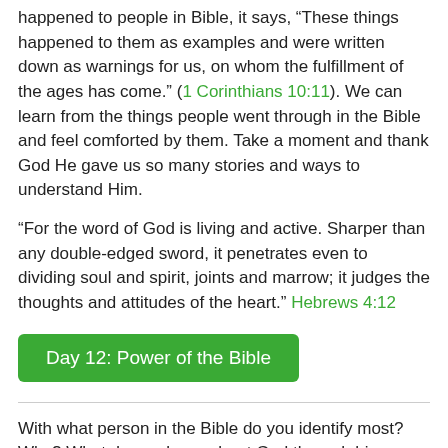happened to people in Bible, it says, “These things happened to them as examples and were written down as warnings for us, on whom the fulfillment of the ages has come.” (1 Corinthians 10:11). We can learn from the things people went through in the Bible and feel comforted by them. Take a moment and thank God He gave us so many stories and ways to understand Him.
"For the word of God is living and active. Sharper than any double-edged sword, it penetrates even to dividing soul and spirit, joints and marrow; it judges the thoughts and attitudes of the heart." Hebrews 4:12
Day 12: Power of the Bible
With what person in the Bible do you identify most? Why? What do you learn about God through his or